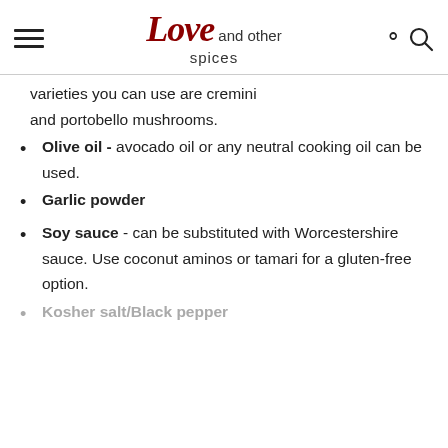Love and other spices
varieties you can use are cremini and portobello mushrooms.
Olive oil - avocado oil or any neutral cooking oil can be used.
Garlic powder
Soy sauce - can be substituted with Worcestershire sauce. Use coconut aminos or tamari for a gluten-free option.
Kosher salt/Black pepper